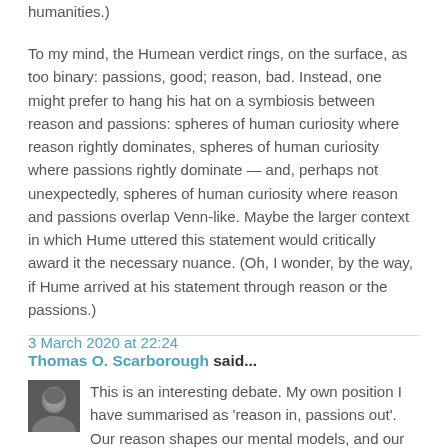humanities.)
To my mind, the Humean verdict rings, on the surface, as too binary: passions, good; reason, bad. Instead, one might prefer to hang his hat on a symbiosis between reason and passions: spheres of human curiosity where reason rightly dominates, spheres of human curiosity where passions rightly dominate — and, perhaps not unexpectedly, spheres of human curiosity where reason and passions overlap Venn-like. Maybe the larger context in which Hume uttered this statement would critically award it the necessary nuance. (Oh, I wonder, by the way, if Hume arrived at his statement through reason or the passions.)
3 March 2020 at 22:24
Thomas O. Scarborough said...
This is an interesting debate. My own position I have summarised as 'reason in, passions out'. Our reason shapes our mental models, and our mental models drive our passions. Yet what is the purpose of reason?